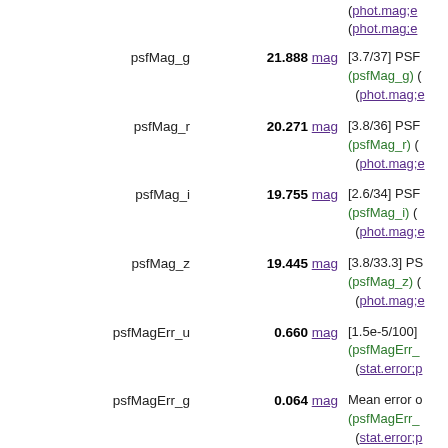(phot.mag;e  (phot.mag;e
psfMag_g  21.888 mag  [3.7/37] PSF (psfMag_g) (phot.mag;e
psfMag_r  20.271 mag  [3.8/36] PSF (psfMag_r) (phot.mag;e
psfMag_i  19.755 mag  [2.6/34] PSF (psfMag_i) (phot.mag;e
psfMag_z  19.445 mag  [3.8/33.3] PS (psfMag_z) (phot.mag;e
psfMagErr_u  0.660 mag  [1.5e-5/100] (psfMagErr_ (stat.error;p
psfMagErr_g  0.064 mag  Mean error o (psfMagErr_ (stat.error;p
psfMagErr_r  0.036 mag  Mean error o (Note 4) (st
psfMagErr_i  0.026 mag  Mean error o (Note 4) (st